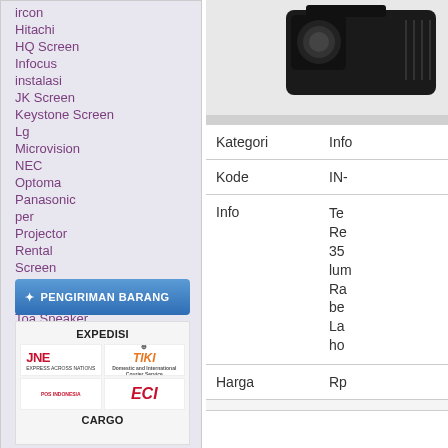ircon
Hitachi
HQ Screen
Infocus
instalasi
JK Screen
Keystone Screen
Lg
Microvision
NEC
Optoma
Panasonic
per
Projector
Rental
Screen
ScreenView
Service Projector
Toa Speaker
PENGIRIMAN BARANG
[Figure (logo): Shipping courier logos: EXPEDISI - JNE, TIKI, POS INDONESIA, ECI; CARGO section below]
[Figure (photo): Black projector device, top right area]
| Field | Value |
| --- | --- |
| Kategori | Info... |
| Kode | IN-... |
| Info | Te... Re... 35... lum... Ra... be... La... ho... |
| Harga | Rp... |